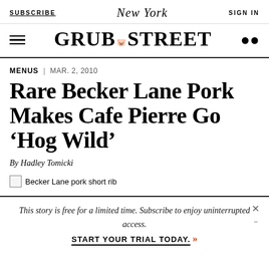SUBSCRIBE | New York | SIGN IN
GRUB STREET
MENUS | MAR. 2, 2010
Rare Becker Lane Pork Makes Cafe Pierre Go ‘Hog Wild’
By Hadley Tomicki
Becker Lane pork short rib
This story is free for a limited time. Subscribe to enjoy uninterrupted access. START YOUR TRIAL TODAY.